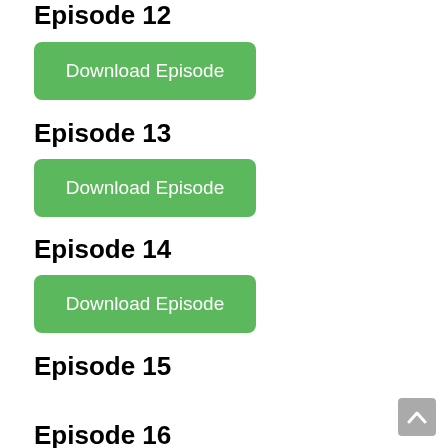Episode 12
Download Episode
Episode 13
Download Episode
Episode 14
Download Episode
Episode 15
Download Episode
Episode 16